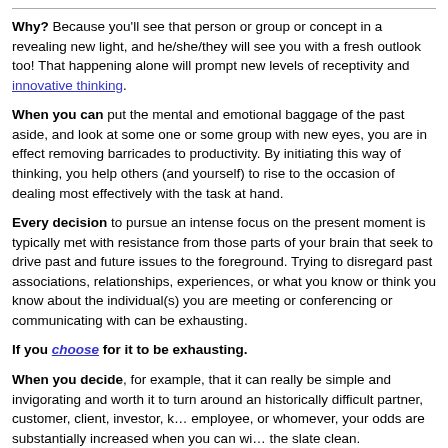Why? Because you'll see that person or group or concept in a revealing new light, and he/she/they will see you with a fresh outlook too! That happening alone will prompt new levels of receptivity and innovative thinking.
When you can put the mental and emotional baggage of the past aside, and look at some one or some group with new eyes, you are in effect removing barricades to productivity. By initiating this way of thinking, you help others (and yourself) to rise to the occasion of dealing most effectively with the task at hand.
Every decision to pursue an intense focus on the present moment is typically met with resistance from those parts of your brain that seek to drive past and future issues to the foreground. Trying to disregard past associations, relationships, experiences, or what you know or think you know about the individual(s) you are meeting or conferencing or communicating with can be exhausting.
If you choose for it to be exhausting.
When you decide, for example, that it can really be simple and invigorating and worth it to turn around an historically difficult partner, customer, client, investor, k… employee, or whomever, your odds are substantially increased when you can wi… the slate clean.
By responding only to what is communicated –and not to prior conclusions,